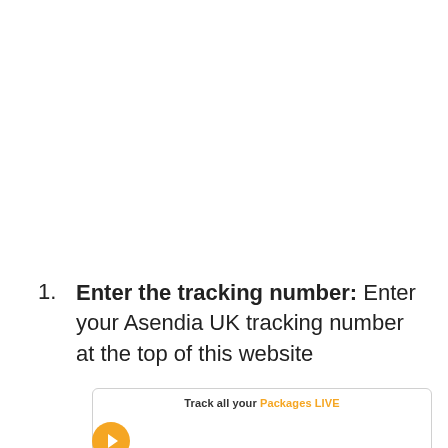Enter the tracking number: Enter your Asendia UK tracking number at the top of this website
[Figure (screenshot): A widget box showing 'Track all your Packages LIVE' text with an orange circle button at the bottom left]